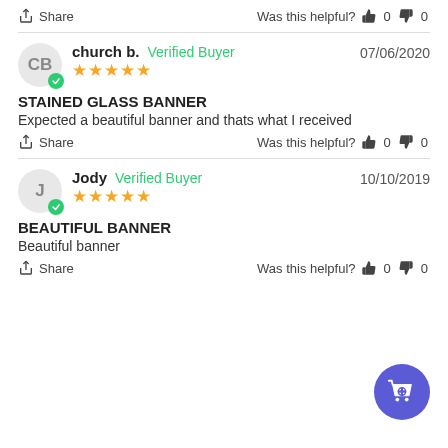Share  Was this helpful? 👍 0 👎 0
church b.  Verified Buyer  07/06/2020  ★★★★★
STAINED GLASS BANNER
Expected a beautiful banner and thats what I received
Share  Was this helpful? 👍 0 👎 0
Jody  Verified Buyer  10/10/2019  ★★★★★
BEAUTIFUL BANNER
Beautiful banner
Share  Was this helpful? 👍 0 👎 0